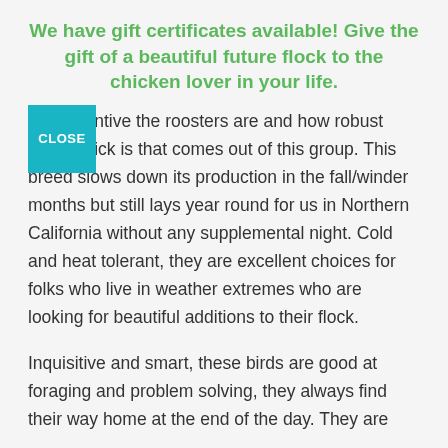We have gift certificates available! Give the gift of a beautiful future flock to the chicken lover in your life.
how attentive the roosters are and how robust every chick is that comes out of this group. This breed slows down its production in the fall/winder months but still lays year round for us in Northern California without any supplemental night. Cold and heat tolerant, they are excellent choices for folks who live in weather extremes who are looking for beautiful additions to their flock.
Inquisitive and smart, these birds are good at foraging and problem solving, they always find their way home at the end of the day. They are